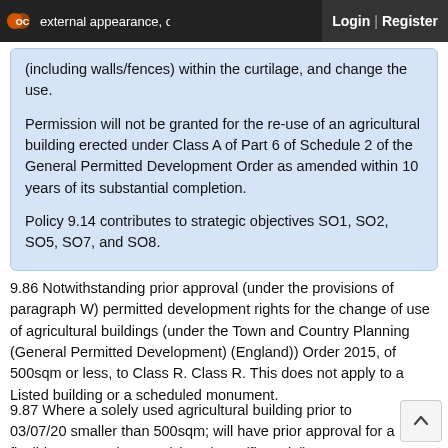Login | Register
external appearance, construct buildings or structures (including walls/fences) within the curtilage, and change the use.
Permission will not be granted for the re-use of an agricultural building erected under Class A of Part 6 of Schedule 2 of the General Permitted Development Order as amended within 10 years of its substantial completion.
Policy 9.14 contributes to strategic objectives SO1, SO2, SO5, SO7, and SO8.
9.86 Notwithstanding prior approval (under the provisions of paragraph W) permitted development rights for the change of use of agricultural buildings (under the Town and Country Planning (General Permitted Development) (England)) Order 2015, of 500sqm or less, to Class R. Class R. This does not apply to a Listed building or a scheduled monument.
9.87 Where a solely used agricultural building prior to 03/07/20 smaller than 500sqm; will have prior approval for a flexible use as Class A1 (shops), A2 (financial), A3 restaurants, café, B1